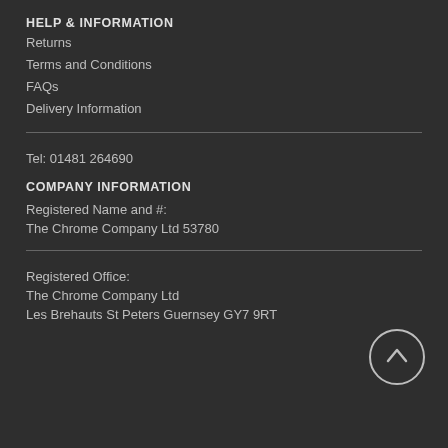HELP & INFORMATION
Returns
Terms and Conditions
FAQs
Delivery Information
Tel: 01481 264690
COMPANY INFORMATION
Registered Name and #:
The Chrome Company Ltd 53780
Registered Office:
The Chrome Company Ltd
Les Brehauts St Peters Guernsey GY7 9RT